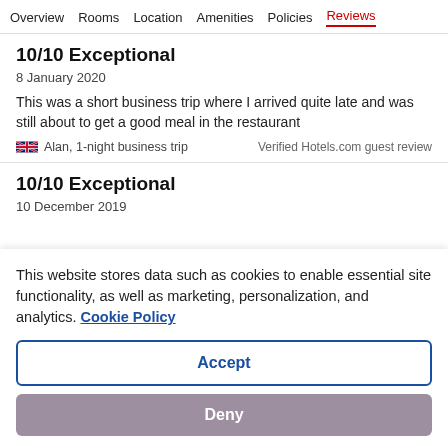Overview  Rooms  Location  Amenities  Policies  Reviews
10/10 Exceptional
8 January 2020
This was a short business trip where I arrived quite late and was still about to get a good meal in the restaurant
Alan, 1-night business trip   Verified Hotels.com guest review
10/10 Exceptional
10 December 2019
This website stores data such as cookies to enable essential site functionality, as well as marketing, personalization, and analytics. Cookie Policy
Accept
Deny